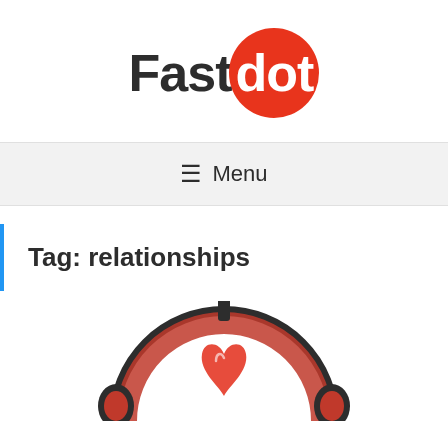[Figure (logo): Fastdot logo: 'Fast' in dark gray bold text followed by 'dot' in white bold text inside a red circle]
≡ Menu
Tag: relationships
[Figure (illustration): Illustration of a heart with headphones inside a circular shape, in red/coral tones on white background, partially visible at bottom of page]